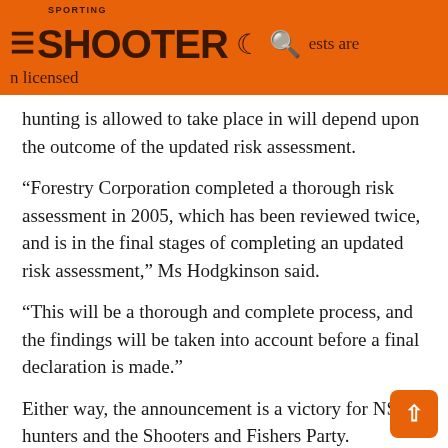SPORTING SHOOTER
ests are n licensed hunting is allowed to take place in will depend upon the outcome of the updated risk assessment.
“Forestry Corporation completed a thorough risk assessment in 2005, which has been reviewed twice, and is in the final stages of completing an updated risk assessment,” Ms Hodgkinson said.
“This will be a thorough and complete process, and the findings will be taken into account before a final declaration is made.”
Either way, the announcement is a victory for NS hunters and the Shooters and Fishers Party.